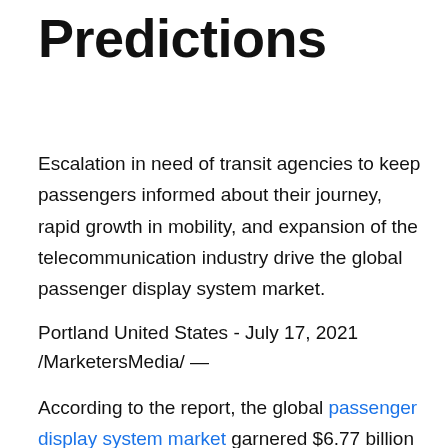Predictions
Escalation in need of transit agencies to keep passengers informed about their journey, rapid growth in mobility, and expansion of the telecommunication industry drive the global passenger display system market.
Portland United States - July 17, 2021 /MarketersMedia/ —
According to the report, the global passenger display system market garnered $6.77 billion in 2019, and is estimated to reach $17.41 billion by 2027